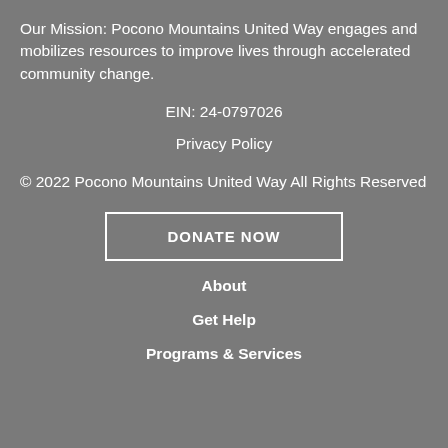Our Mission: Pocono Mountains United Way engages and mobilizes resources to improve lives through accelerated community change.
EIN: 24-0797026
Privacy Policy
© 2022 Pocono Mountains United Way All Rights Reserved
DONATE NOW
About
Get Help
Programs & Services